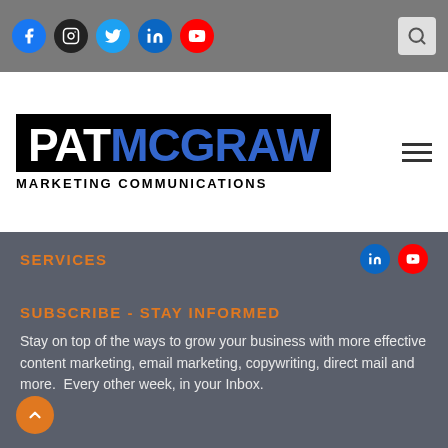Social media navigation bar with Facebook, Instagram, Twitter, LinkedIn, YouTube icons and search
[Figure (logo): PAT MCGRAW MARKETING COMMUNICATIONS logo — PAT in white, MCGRAW in blue on black background, with MARKETING COMMUNICATIONS subtitle below]
SERVICES
SUBSCRIBE - STAY INFORMED
Stay on top of the ways to grow your business with more effective content marketing, email marketing, copywriting, direct mail and more.  Every other week, in your Inbox.